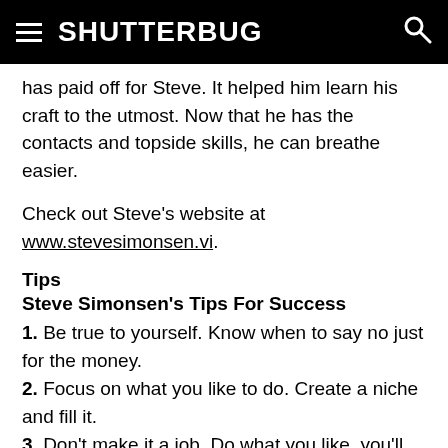SHUTTERBUG
has paid off for Steve. It helped him learn his craft to the utmost. Now that he has the contacts and topside skills, he can breathe easier.
Check out Steve's website at www.stevesimonsen.vi.
Tips
Steve Simonsen's Tips For Success
1. Be true to yourself. Know when to say no just for the money.
2. Focus on what you like to do. Create a niche and fill it.
3. Don't make it a job. Do what you like, you'll do it